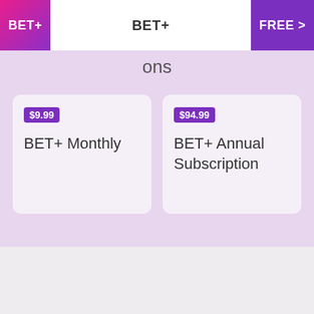[Figure (logo): BET+ logo in pink-to-purple gradient box]
BET+
FREE >
ons
$9.99
BET+ Monthly
$94.99
BET+ Annual Subscription